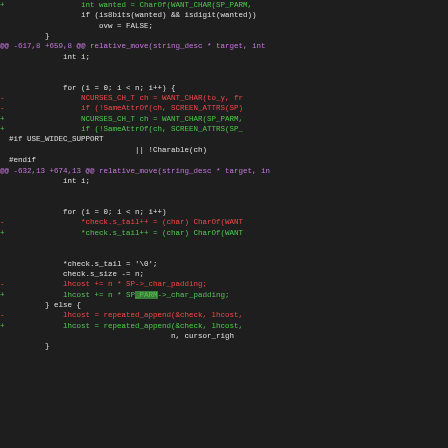[Figure (screenshot): A code diff screenshot showing changes to C source code with green added lines, red removed lines, and purple hunk headers. The diff shows modifications to relative_move function involving NCURSES_CH_T, WANT_CHAR, SameAttrOf, SP_PARM macros, and lhcost/check operations.]